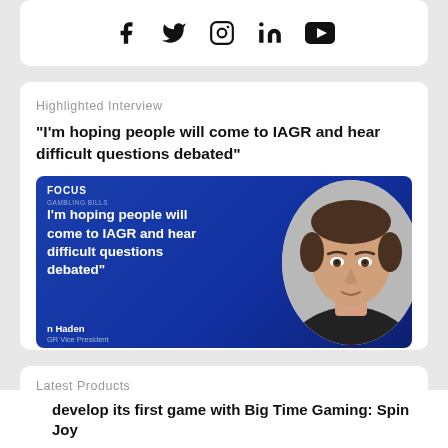[Figure (infographic): Social media icons row: Facebook, Twitter, Instagram, LinkedIn, YouTube]
Highlighted Interview
"I'm hoping people will come to IAGR and hear difficult questions debated"
[Figure (photo): Blue banner image with quote text: 'I'm hoping people will come to IAGR and hear difficult questions debated' and a black-and-white photo of a man. Text at bottom: 'n Haden, GR Vice President'. Top left: FOCUS label.]
Latest Products
develop its first game with Big Time Gaming: Spin Joy